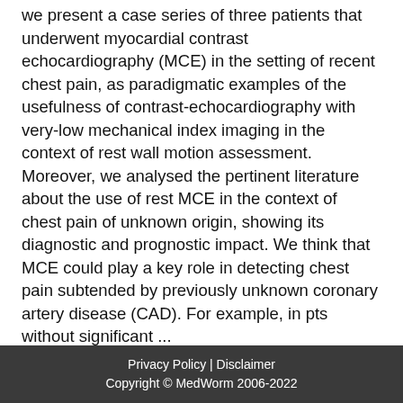we present a case series of three patients that underwent myocardial contrast echocardiography (MCE) in the setting of recent chest pain, as paradigmatic examples of the usefulness of contrast-echocardiography with very-low mechanical index imaging in the context of rest wall motion assessment. Moreover, we analysed the pertinent literature about the use of rest MCE in the context of chest pain of unknown origin, showing its diagnostic and prognostic impact. We think that MCE could play a key role in detecting chest pain subtended by previously unknown coronary artery disease (CAD). For example, in pts without significant ...
Source: Reviews in Cardiovascular Medicine - March 29, 2022 Category: Cardiology Authors: Sergio Suma Domenico Tuttolomondo Nicola Gaibazzi Source Type: research
Privacy Policy | Disclaimer
Copyright © MedWorm 2006-2022